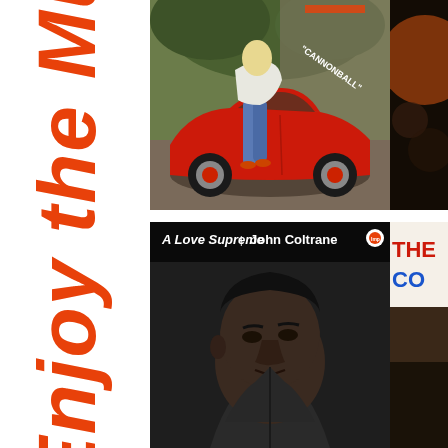Enjoy the Mu
[Figure (photo): Album cover: Cannonball Adderley - woman in tight jeans leaning into a red classic convertible car, outdoor setting with trees]
[Figure (photo): Partial album cover: dark orange/brown abstract design, partially cropped on right edge]
[Figure (photo): Album cover: A Love Supreme / John Coltrane - black and white close-up portrait of John Coltrane with album title text at top left, Impulse! Records logo]
[Figure (photo): Partial album cover: red and blue text reading THE and CO on white background, with dark image below, partially cropped on right edge]